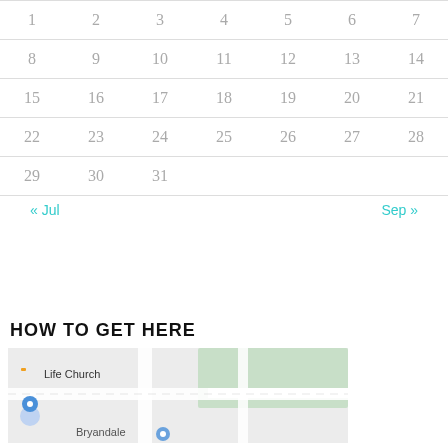|  |  |  |  |  |  |  |
| --- | --- | --- | --- | --- | --- | --- |
| 1 | 2 | 3 | 4 | 5 | 6 | 7 |
| 8 | 9 | 10 | 11 | 12 | 13 | 14 |
| 15 | 16 | 17 | 18 | 19 | 20 | 21 |
| 22 | 23 | 24 | 25 | 26 | 27 | 28 |
| 29 | 30 | 31 |  |  |  |  |
« Jul    Sep »
HOW TO GET HERE
[Figure (map): Map showing location of Life Church near Bryandale area]